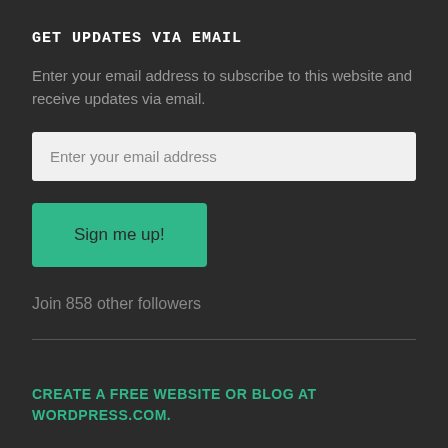GET UPDATES VIA EMAIL
Enter your email address to subscribe to this website and receive updates via email.
[Figure (screenshot): Email input field with placeholder text 'Enter your email address']
[Figure (screenshot): Green 'Sign me up!' button]
Join 858 other followers
CREATE A FREE WEBSITE OR BLOG AT WORDPRESS.COM.